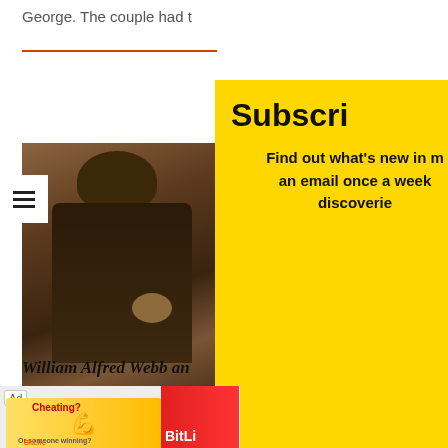George. The couple had t
[Figure (photo): Sepia-toned portrait photograph of a man in a suit and tie, early 20th century style]
Subscri
Find out what's new in m an email once a week discoverie
William Alfred Webb an
William Alfred Webb marri
[Figure (other): Ad banner with Cheating game advertisement and BitLife promotion]
First Name
Last name